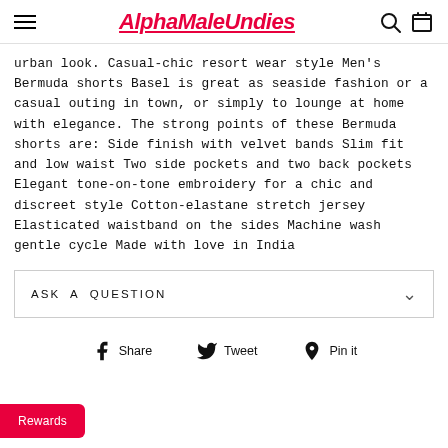AlphaMaleUndies
urban look. Casual-chic resort wear style Men's Bermuda shorts Basel is great as seaside fashion or a casual outing in town, or simply to lounge at home with elegance. The strong points of these Bermuda shorts are: Side finish with velvet bands Slim fit and low waist Two side pockets and two back pockets Elegant tone-on-tone embroidery for a chic and discreet style Cotton-elastane stretch jersey Elasticated waistband on the sides Machine wash gentle cycle Made with love in India
ASK A QUESTION
Share   Tweet   Pin it